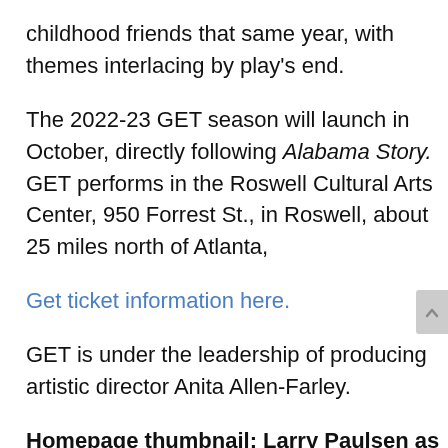childhood friends that same year, with themes interlacing by play’s end.
The 2022-23 GET season will launch in October, directly following Alabama Story. GET performs in the Roswell Cultural Arts Center, 950 Forrest St., in Roswell, about 25 miles north of Atlanta,
Get ticket information here.
GET is under the leadership of producing artistic director Anita Allen-Farley.
Homepage thumbnail: Larry Paulsen as Garth Williams at Repertory Theatre of St. Louis in 2019.